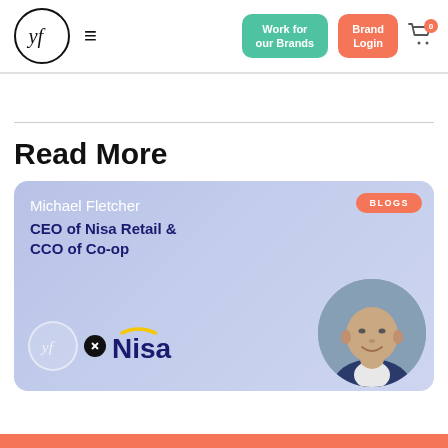yf logo | hamburger menu | Work for our Brands | Brand Login | cart (0)
Read More
[Figure (illustration): Blog card with light blue/purple gradient background. Text reads 'Michael Fletcher' and 'CEO of Nisa Retail & CCO of Co-op'. Orange 'BLOGS' badge top right. Bottom left shows the yf logo circle and Nisa brand logo with x between them. Right side shows circular cropped photo of a bald smiling man in a suit.]